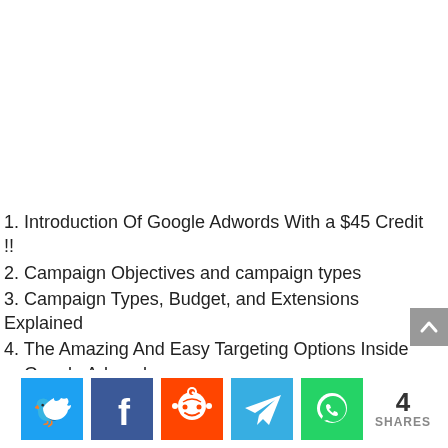1. Introduction Of Google Adwords With a $45 Credit !!
2. Campaign Objectives and campaign types
3. Campaign Types, Budget, and Extensions Explained
4. The Amazing And Easy Targeting Options Inside Google Adwords
5. Geographic Location and Radius Targeting